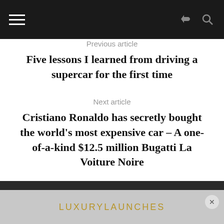Previous article
Five lessons I learned from driving a supercar for the first time
Next article
Cristiano Ronaldo has secretly bought the world's most expensive car – A one-of-a-kind $12.5 million Bugatti La Voiture Noire
LUXURYLAUNCHES